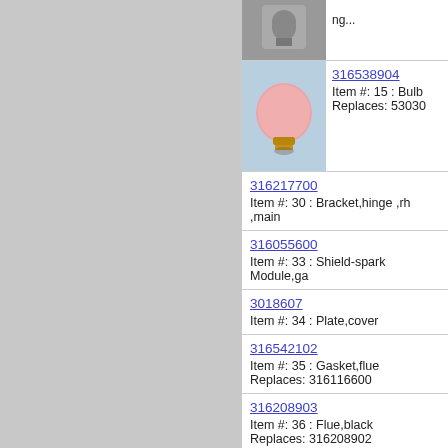[Figure (photo): Top partial row with product image on dark/grey background]
[Figure (photo): Pink/orange light bulb on blue background]
316538904
Item #: 15 : Bulb
Replaces: 5303...
316217700
Item #: 30 : Bracket,hinge ,rh ,main...
316055600
Item #: 33 : Shield-spark Module,ga...
3018607
Item #: 34 : Plate,cover
316542102
Item #: 35 : Gasket,flue
Replaces: 316116600
316208903
Item #: 36 : Flue,black
Replaces: 316208902
5304515659
Item #: 39 : Cord-electric Power
Replaces: 3202006
316233400...